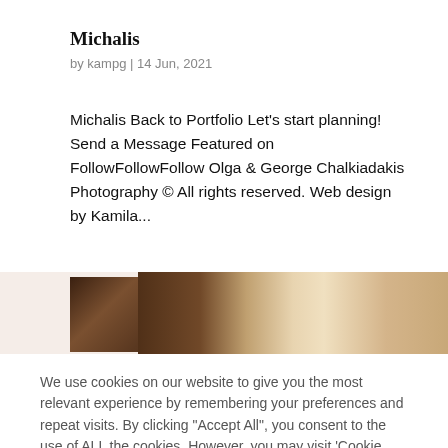Michalis
by kampg | 14 Jun, 2021
Michalis Back to Portfolio Let's start planning! Send a Message Featured on FollowFollowFollow Olga & George Chalkiadakis Photography © All rights reserved. Web design by Kamila...
[Figure (photo): Strip of two photos: left shows a dark crowd scene, right shows close-up of two people with styled hair from behind]
We use cookies on our website to give you the most relevant experience by remembering your preferences and repeat visits. By clicking "Accept All", you consent to the use of ALL the cookies. However, you may visit 'Cookie Settings' to provide a controlled consent.